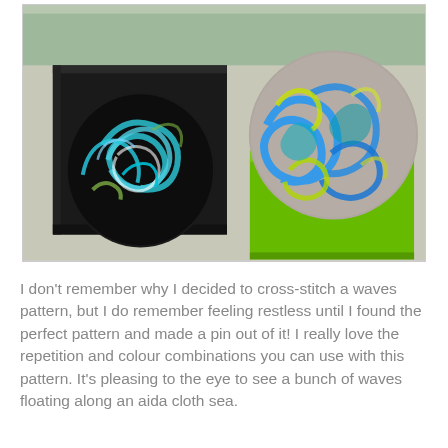[Figure (photo): Two circular cross-stitch pins in boxes. Left pin is on a black square box with dark background and turquoise/white/green wave pattern. Right pin sits on top of a bright green box with grey background and turquoise/yellow-green wave pattern. Both feature swirling wave motifs. Background surface is white/light grey.]
I don't remember why I decided to cross-stitch a waves pattern, but I do remember feeling restless until I found the perfect pattern and made a pin out of it! I really love the repetition and colour combinations you can use with this pattern. It's pleasing to the eye to see a bunch of waves floating along an aida cloth sea.